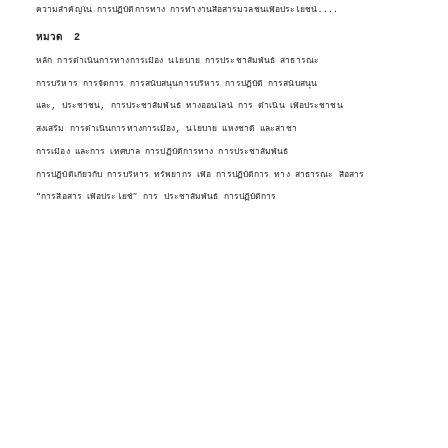[Thai text line 1 - continuation text ending with ....]
หมวด 2
[Thai text line - article/section text 1]
[Thai text line - article/section text 2]
[Thai text line - article/section text 3]
[Thai text line - article/section text 4]
[Thai text line - article/section text 5]
[Thai text line - article/section text 6]
[Thai text line - article/section text 7 with quoted text]